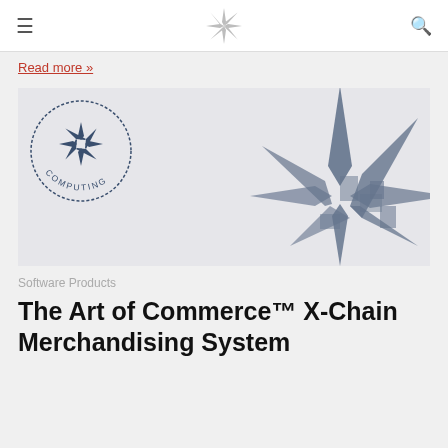≡  [star logo]  🔍
Read more »
[Figure (logo): Computing star logo — a circular stamp showing a star with rays and the text COMPUTING around the bottom arc. Behind it, a large blurred blue star/burst graphic fills the right side of the image.]
Software Products
The Art of Commerce™ X-Chain Merchandising System